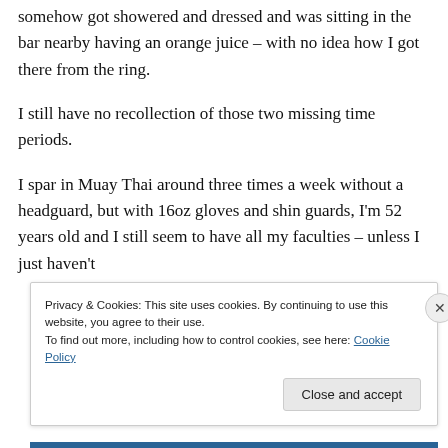somehow got showered and dressed and was sitting in the bar nearby having an orange juice – with no idea how I got there from the ring.
I still have no recollection of those two missing time periods.
I spar in Muay Thai around three times a week without a headguard, but with 16oz gloves and shin guards, I'm 52 years old and I still seem to have all my faculties – unless I just haven't
Privacy & Cookies: This site uses cookies. By continuing to use this website, you agree to their use.
To find out more, including how to control cookies, see here: Cookie Policy